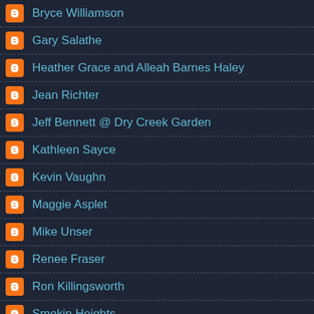Bryce Williamson
Gary Salathe
Heather Grace and Alleah Barnes Haley
Jean Richter
Jeff Bennett @ Dry Creek Garden
Kathleen Sayce
Kevin Vaughn
Maggie Asplet
Mike Unser
Renee Fraser
Ron Killingsworth
Smokin Heights
Susanne Holland Spicker
Sylvain Ruaud
Tom Waters
Unknown